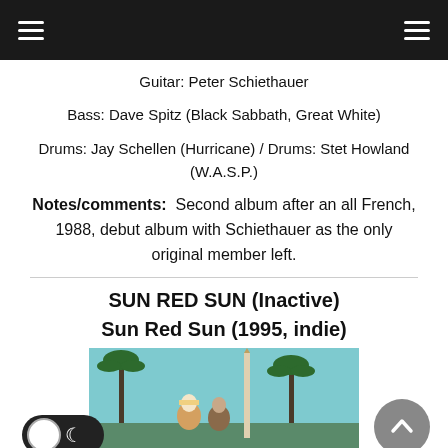Navigation header with hamburger menus
Guitar: Peter Schiethauer
Bass: Dave Spitz (Black Sabbath, Great White)
Drums: Jay Schellen (Hurricane) / Drums: Stet Howland (W.A.S.P.)
Notes/comments: Second album after an all French, 1988, debut album with Schiethauer as the only original member left.
SUN RED SUN (Inactive)
Sun Red Sun (1995, indie)
[Figure (photo): Band photo showing people outdoors with palm trees in background, teal/blue sky]